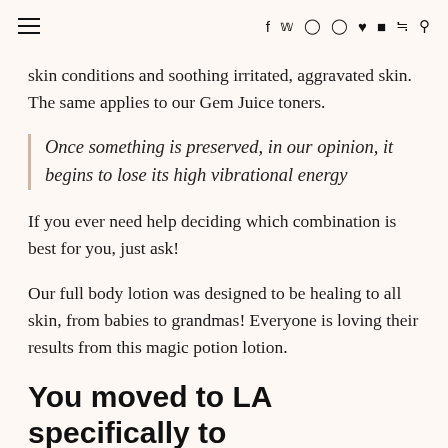≡  f  y  ◎  ⊕  ♥  ▶  ⊃  🔍
skin conditions and soothing irritated, aggravated skin. The same applies to our Gem Juice toners.
Once something is preserved, in our opinion, it begins to lose its high vibrational energy
If you ever need help deciding which combination is best for you, just ask!
Our full body lotion was designed to be healing to all skin, from babies to grandmas! Everyone is loving their results from this magic potion lotion.
You moved to LA specifically to